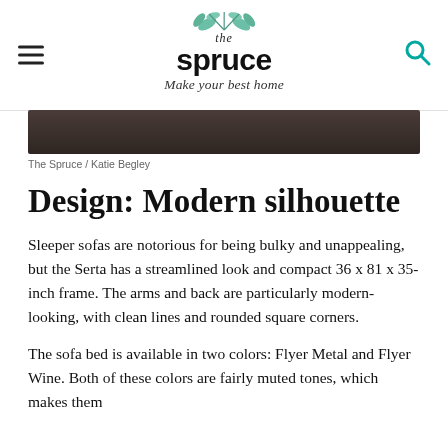the spruce — Make your best home
[Figure (photo): Dark textured sofa/fabric image strip at top of article]
The Spruce / Katie Begley
Design: Modern silhouette
Sleeper sofas are notorious for being bulky and unappealing, but the Serta has a streamlined look and compact 36 x 81 x 35-inch frame. The arms and back are particularly modern-looking, with clean lines and rounded square corners.
The sofa bed is available in two colors: Flyer Metal and Flyer Wine. Both of these colors are fairly muted tones, which makes them